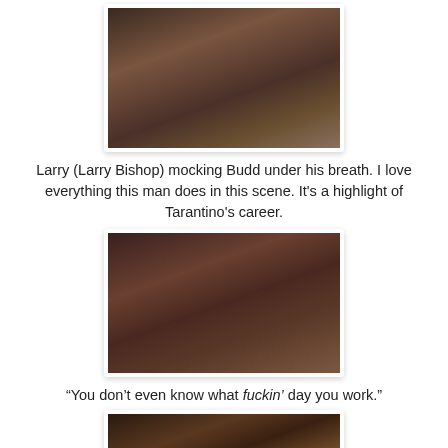[Figure (photo): Film still from a movie scene showing two people sitting across a desk in a cluttered office room]
Larry (Larry Bishop) mocking Budd under his breath. I love everything this man does in this scene. It's a highlight of Tarantino's career.
[Figure (photo): Film still from the same movie scene, similar angle showing two people at a desk in a cluttered room]
“You don’t even know what fuckin’ day you work.”
[Figure (photo): Film still showing a man in a denim shirt pointing at a wall calendar in a cluttered room]